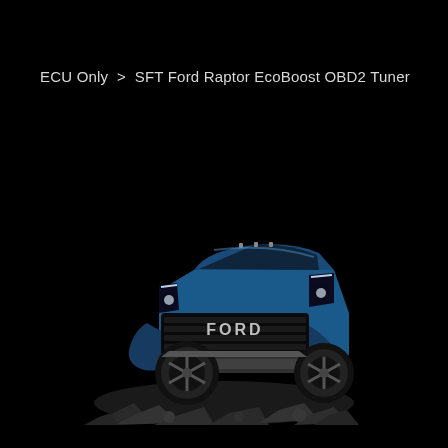ECU Only > SFT Ford Raptor EcoBoost OBD2 Tuner
[Figure (photo): Blue Ford Raptor truck driving over rocks, front 3/4 view on black background, aggressive off-road pose with debris flying]